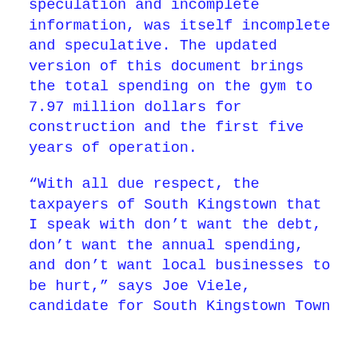speculation and incomplete information, was itself incomplete and speculative. The updated version of this document brings the total spending on the gym to 7.97 million dollars for construction and the first five years of operation.
“With all due respect, the taxpayers of South Kingstown that I speak with don’t want the debt, don’t want the annual spending, and don’t want local businesses to be hurt,” says Joe Viele, candidate for South Kingstown Town